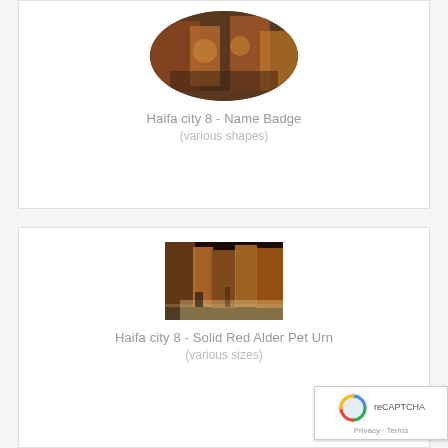[Figure (photo): Oval-shaped product image showing a street scene with warm orange and brown tones, people visible in background]
Haifa city 8 - Name Badge
(various shapes)
[Figure (photo): Square product image showing a night street scene with warm amber and orange lights, buildings lining a narrow street]
Haifa city 8 - Solid Red Alder Pet Urn
(various sizes)